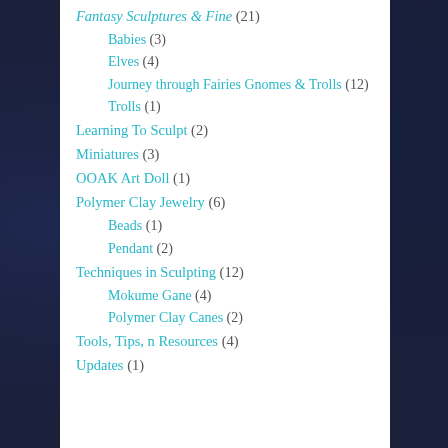Fantasy Sculptures & Fine (21)
Babies (3)
Elves (4)
Journey through Fairies Gnomes & Trolls (12)
Trolls (1)
Learning To Sculpt (2)
Miniatures (3)
OOAK Art Doll (1)
Polymer Clay Jewelry (6)
Beads (1)
Pendant (2)
Techniques in Sculpting (12)
Mokume Gane (4)
Polymer Clay Canes (2)
Tools, Tips, n Resources (4)
Updates (1)